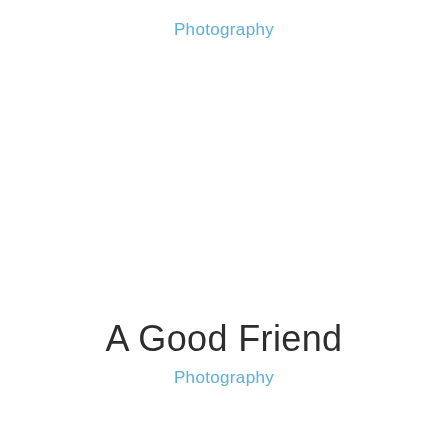Photography
A Good Friend
Photography